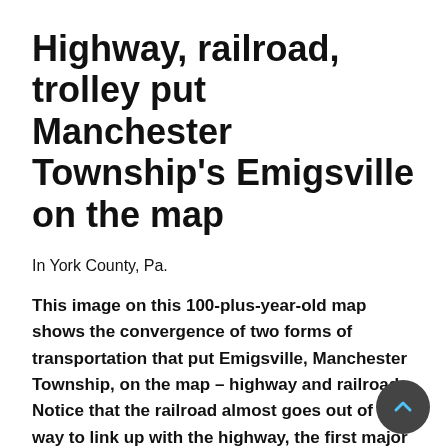Highway, railroad, trolley put Manchester Township's Emigsville on the map
In York County, Pa.
This image on this 100-plus-year-old map shows the convergence of two forms of transportation that put Emigsville, Manchester Township, on the map – highway and railroad. Notice that the railroad almost goes out of its way to link up with the highway, the first major stop north of York on the road to Harrisburg. Later, the trolley between York and York Haven added another major means of transportation through town. Notice the map